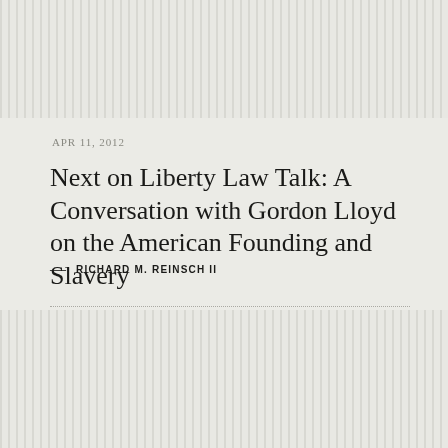APR 11, 2012
Next on Liberty Law Talk: A Conversation with Gordon Lloyd on the American Founding and Slavery
— RICHARD M. REINSCH II
[Figure (other): Decorative vertical striped background block at bottom of page]